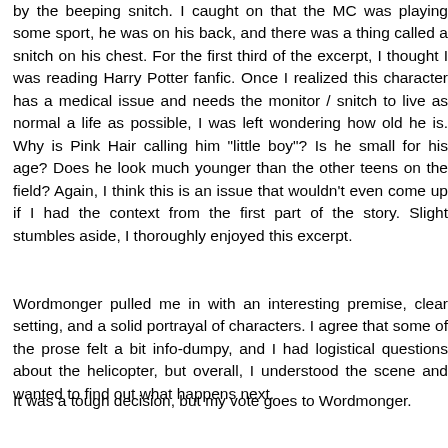by the beeping snitch. I caught on that the MC was playing some sport, he was on his back, and there was a thing called a snitch on his chest. For the first third of the excerpt, I thought I was reading Harry Potter fanfic. Once I realized this character has a medical issue and needs the monitor / snitch to live as normal a life as possible, I was left wondering how old he is. Why is Pink Hair calling him "little boy"? Is he small for his age? Does he look much younger than the other teens on the field? Again, I think this is an issue that wouldn't even come up if I had the context from the first part of the story. Slight stumbles aside, I thoroughly enjoyed this excerpt.
Wordmonger pulled me in with an interesting premise, clear setting, and a solid portrayal of characters. I agree that some of the prose felt a bit info-dumpy, and I had logistical questions about the helicopter, but overall, I understood the scene and wanted to find out what happens next.
It was a tough decision, but my vote goes to Wordmonger.
Reply